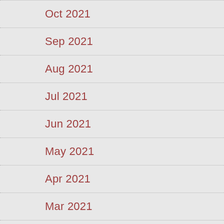Oct 2021
Sep 2021
Aug 2021
Jul 2021
Jun 2021
May 2021
Apr 2021
Mar 2021
Feb 2021
Jan 2021